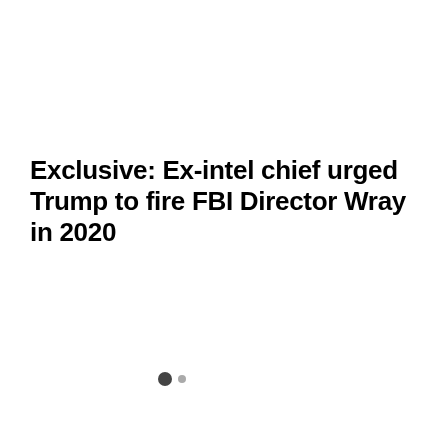Exclusive: Ex-intel chief urged Trump to fire FBI Director Wray in 2020
Sponsored Content
[Figure (screenshot): Video player with dark/black background showing a '9 seconds...' countdown bubble in the top right, an 'Enable' button with a speaker icon in the center, and 'Loading' text in the bottom left. Navigation dots visible to the left of the player.]